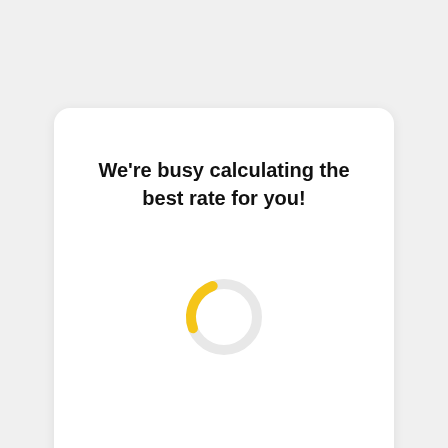We're busy calculating the best rate for you!
[Figure (other): A loading spinner showing a yellow arc segment (upper-left portion) on a light grey circular track, indicating a calculation in progress.]